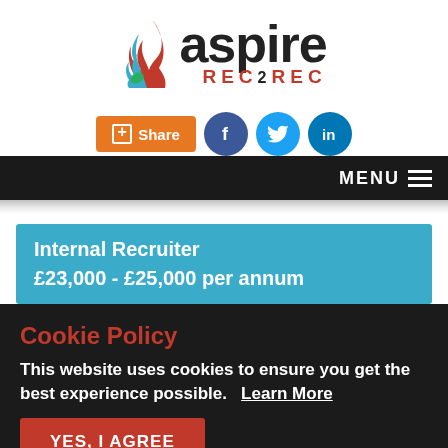[Figure (logo): Aspire REC2REC logo with flame icon and company name]
[Figure (infographic): Social sharing buttons: Share button (orange), Facebook, Twitter, LinkedIn icons]
MENU
Internal Recruiter
£23,000 - £25,000 per annum
Cookie Policy
This website uses cookies to ensure you get the best experience possible.  Learn More
YES, I AGREE